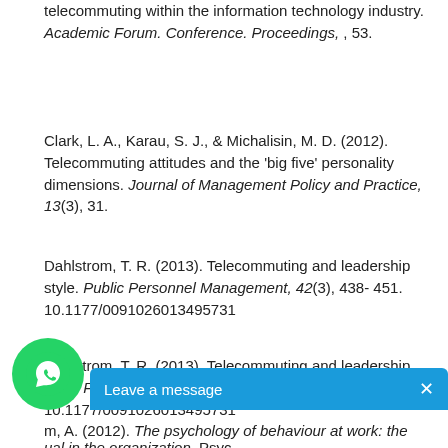telecommuting within the information technology industry. Academic Forum. Conference. Proceedings, , 53.
Clark, L. A., Karau, S. J., & Michalisin, M. D. (2012). Telecommuting attitudes and the 'big five' personality dimensions. Journal of Management Policy and Practice, 13(3), 31.
Dahlstrom, T. R. (2013). Telecommuting and leadership style. Public Personnel Management, 42(3), 438- 451. 10.1177/0091026013495731
Dahlstrom, T. R. (2013). Telecommuting and leadership style. Public Personnel Management, 42(3), 438- 451. 10.1177/0091026013495731
m, A. (2012). The psychology of behaviour at work: the ual in the organization. Psyc...